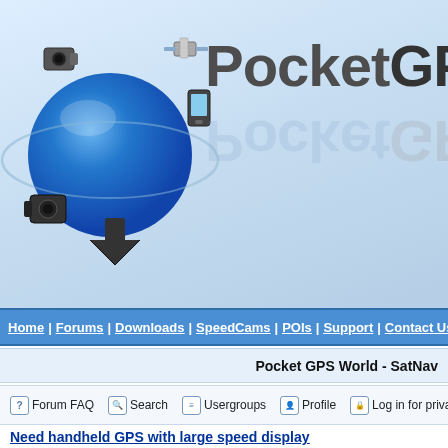[Figure (logo): PocketGPSWorld website header with globe/satellite logo icon on left and 'PocketGPSW' bold text on right, on light blue gradient background]
Home | Forums | Downloads | SpeedCams | POIs | Support | Contact Us
Pocket GPS World - SatNav
Forum FAQ   Search   Usergroups   Profile   Log in for private
Need handheld GPS with large speed display
new topic   post reply   Pocket GPS World Forum Index -> Magella
| Author |  |
| --- | --- |